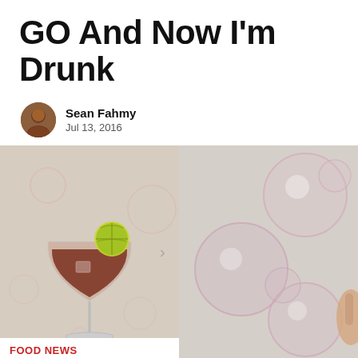GO And Now I'm Drunk
Sean Fahmy
Jul 13, 2016
[Figure (photo): Left: A cocktail glass with brown liquid and a lime wedge garnish, surrounded by bubbles, on a beige background. Right: Multiple translucent pink soap bubbles on a beige background with a hand visible at the edge.]
FOOD NEWS